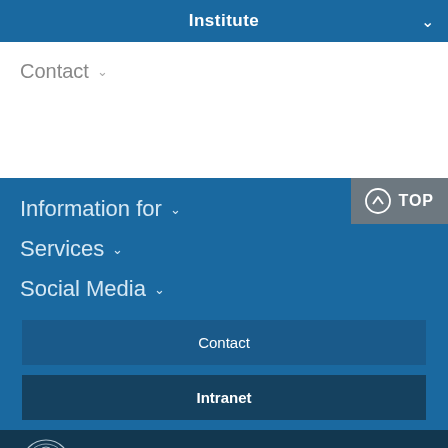Institute
Contact
Information for
Services
Social Media
Contact
Intranet
Max-Planck-Gesellschaft